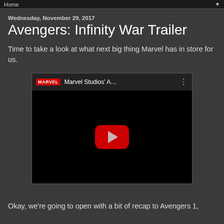Home
Wednesday, November 29, 2017
Avengers: Infinity War Trailer
Time to take a look at what next big thing Marvel has in store for us.
[Figure (screenshot): Embedded YouTube video player showing Marvel Studios' A... with YouTube play button]
Okay, we're going to open with a bit of recap to Avengers 1,